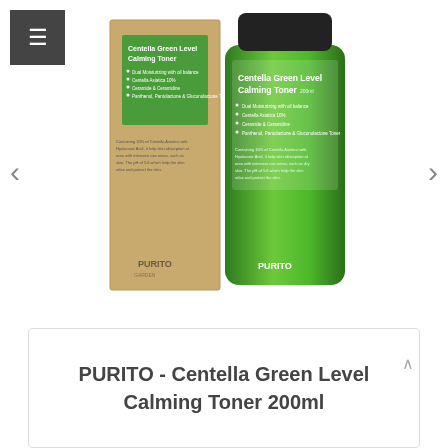[Figure (photo): PURITO Centella Green Level Calming Toner 200ml product photo showing a green bottle with black cap and brown kraft paper box packaging, both labeled with product name and brand PURITO]
PURITO - Centella Green Level Calming Toner 200ml